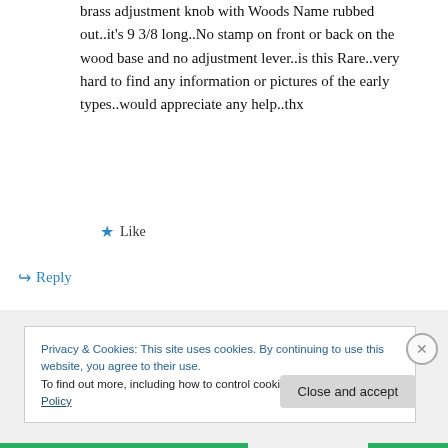brass adjustment knob with Woods Name rubbed out..it's 9 3/8 long..No stamp on front or back on the wood base and no adjustment lever..is this Rare..very hard to find any information or pictures of the early types..would appreciate any help..thx
★ Like
↳ Reply
Privacy & Cookies: This site uses cookies. By continuing to use this website, you agree to their use.
To find out more, including how to control cookies, see here: Cookie Policy
Close and accept